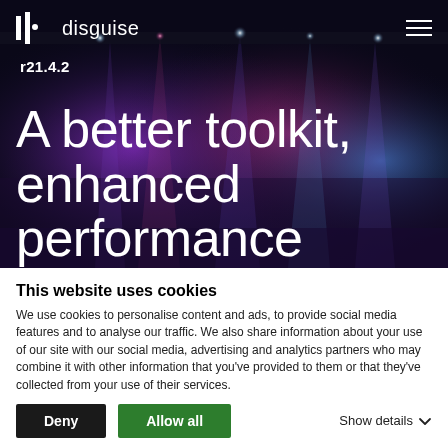[Figure (screenshot): Dark background with stage lighting photo showing colorful concert stage lights in purple and blue tones]
disguise
r21.4.2
A better toolkit, enhanced performance
This website uses cookies
We use cookies to personalise content and ads, to provide social media features and to analyse our traffic. We also share information about your use of our site with our social media, advertising and analytics partners who may combine it with other information that you've provided to them or that they've collected from your use of their services.
Deny | Allow all | Show details